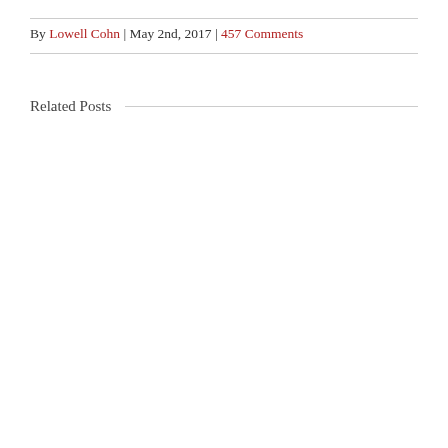By Lowell Cohn | May 2nd, 2017 | 457 Comments
Related Posts